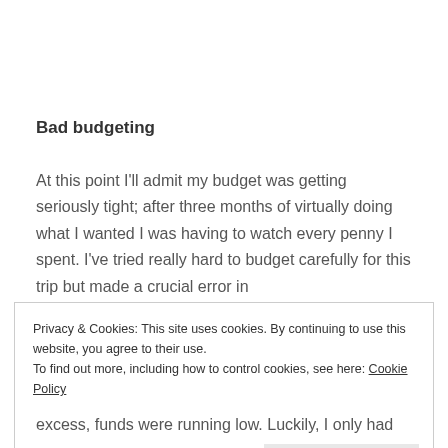Bad budgeting
At this point I'll admit my budget was getting seriously tight; after three months of virtually doing what I wanted I was having to watch every penny I spent. I've tried really hard to budget carefully for this trip but made a crucial error in
Privacy & Cookies: This site uses cookies. By continuing to use this website, you agree to their use.
To find out more, including how to control cookies, see here: Cookie Policy
excess, funds were running low. Luckily, I only had